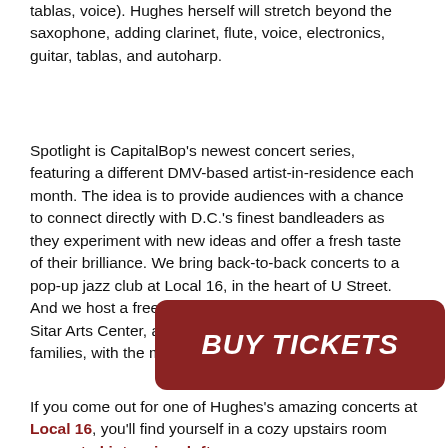tablas, voice). Hughes herself will stretch beyond the saxophone, adding clarinet, flute, voice, electronics, guitar, tablas, and autoharp.
Spotlight is CapitalBop's newest concert series, featuring a different DMV-based artist-in-residence each month. The idea is to provide audiences with a chance to connect directly with D.C.'s finest bandleaders as they experiment with new ideas and offer a fresh taste of their brilliance. We bring back-to-back concerts to a pop-up jazz club at Local 16, in the heart of U Street. And we host a free, open workshop-performance at Sitar Arts Center, aimed at young people and their families, with the month's featured artist.
[Figure (other): Dark red rounded rectangle button with white bold italic text reading BUY TICKETS]
If you come out for one of Hughes's amazing concerts at Local 16, you'll find yourself in a cozy upstairs room converted into a jazz loft,